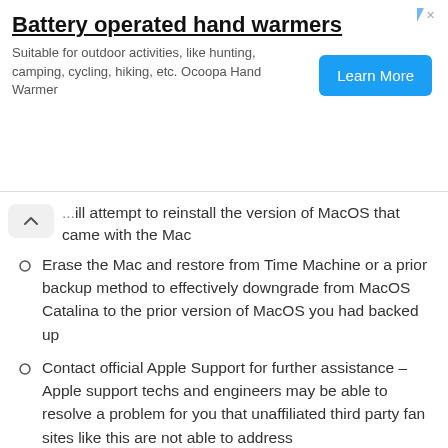[Figure (other): Advertisement banner for battery operated hand warmers with Learn More button]
...will attempt to reinstall the version of MacOS that came with the Mac
Erase the Mac and restore from Time Machine or a prior backup method to effectively downgrade from MacOS Catalina to the prior version of MacOS you had backed up
Contact official Apple Support for further assistance – Apple support techs and engineers may be able to resolve a problem for you that unaffiliated third party fan sites like this are not able to address
Are all of these problems common?
No, they are not common, and most machines with...